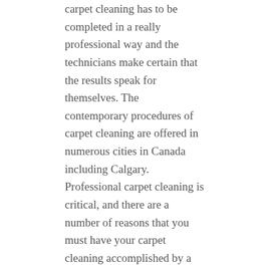carpet cleaning has to be completed in a really professional way and the technicians make certain that the results speak for themselves. The contemporary procedures of carpet cleaning are offered in numerous cities in Canada including Calgary. Professional carpet cleaning is critical, and there are a number of reasons that you must have your carpet cleaning accomplished by a professional that knows what he or she's doing. It can also help to prevent the growth of mold in carpet fibers. It allows commercial property owners to maintain the appearance and extend the life of their carpet.
Lies You've Been Told About Carpet Cleaning
You see, the carpet is part of your property. It is a perfect place for bacteria to breed. Regardless of the simple fact that carpets call for a particular type of routinely maintenance still the delicate